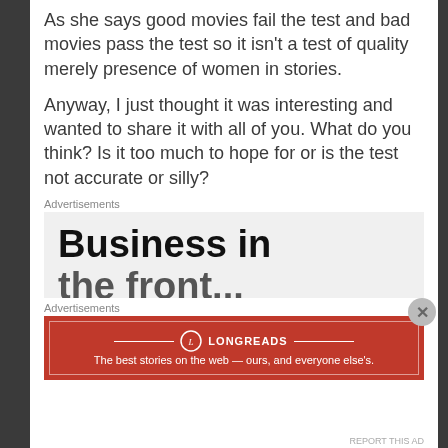As she says good movies fail the test and bad movies pass the test so it isn't a test of quality merely presence of women in stories.
Anyway, I just thought it was interesting and wanted to share it with all of you. What do you think? Is it too much to hope for or is the test not accurate or silly?
Advertisements
[Figure (other): Advertisement box showing 'Business in' large bold text on light gray background, partially cut off]
Advertisements
[Figure (other): Longreads advertisement banner with red background, logo, and tagline: The best stories on the web — ours, and everyone else's.]